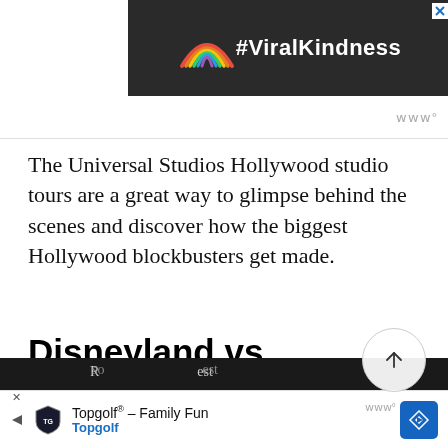[Figure (screenshot): Advertisement banner with rainbow chalk drawing and text #ViralKindness on dark background]
The Universal Studios Hollywood studio tours are a great way to glimpse behind the scenes and discover how the biggest Hollywood blockbusters get made.
Disneyland vs. Universal Studios Hollywood: Shopping
[Figure (screenshot): Bottom advertisement banner for Topgolf - Family Fun, Topgolf with navigation icon]